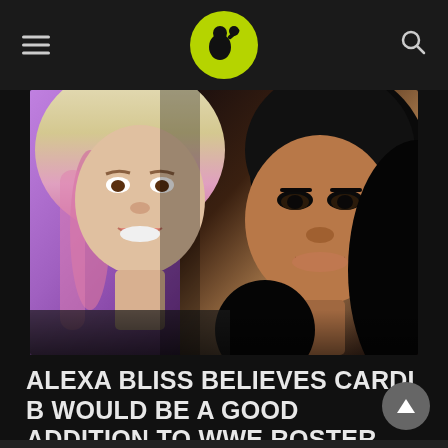Sports/entertainment website header with logo
[Figure (photo): Composite photo of Alexa Bliss (WWE wrestler, blonde with pink highlights, on left) and Cardi B (rapper, dark hair, on right) side by side]
ALEXA BLISS BELIEVES CARDI B WOULD BE A GOOD ADDITION TO WWE ROSTER